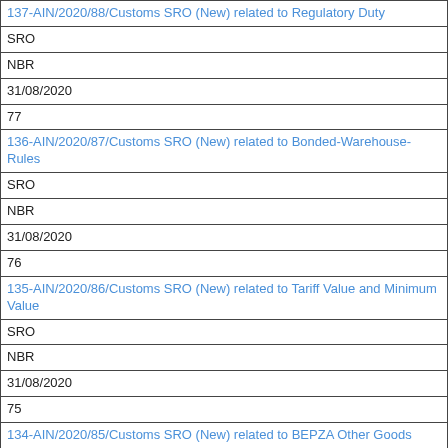| 137-AIN/2020/88/Customs SRO (New) related to Regulatory Duty |
| SRO |
| NBR |
| 31/08/2020 |
| 77 |
| 136-AIN/2020/87/Customs SRO (New) related to Bonded-Warehouse-Rules |
| SRO |
| NBR |
| 31/08/2020 |
| 76 |
| 135-AIN/2020/86/Customs SRO (New) related to Tariff Value and Minimum Value |
| SRO |
| NBR |
| 31/08/2020 |
| 75 |
| 134-AIN/2020/85/Customs SRO (New) related to BEPZA Other Goods |
| SRO |
| NBR |
| 31/08/2020 |
| 74 |
| 133-AIN/2020/84/Customs SRO (New) related to CNG Coversion Kit |